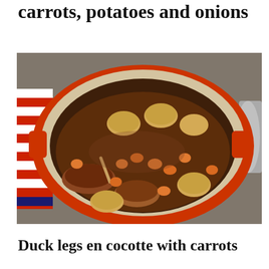carrots, potatoes and onions
[Figure (photo): A red Le Creuset-style Dutch oven (cocotte) containing braised duck legs surrounded by whole baby potatoes and sliced carrots in a rich brown sauce. A red and white striped kitchen towel is visible on the left side, and a metal lid handle is visible on the right. The pot is sitting on a granite countertop.]
Duck legs en cocotte with carrots